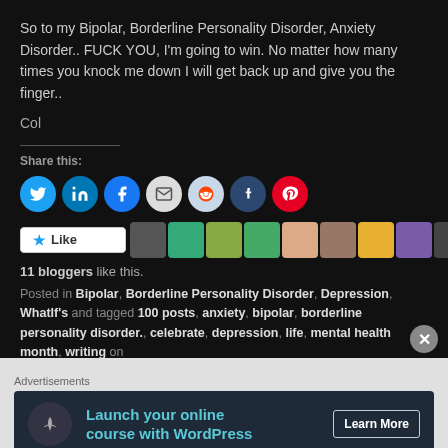So to my Bipolar, Borderline Personality Disorder, Anxiety Disorder.. FUCK YOU, I'm going to win. No matter how many times you knock me down I will get back up and give you the finger..
Col
Share this:
[Figure (infographic): Row of social media share icon buttons: Twitter (blue), LinkedIn (blue), Facebook (blue), Email (light grey), Reddit (light blue), Tumblr (dark blue), Pinterest (red)]
[Figure (infographic): WordPress Like button and row of blogger avatars]
11 bloggers like this.
Posted in Bipolar, Borderline Personality Disorder, Depression, WhatIf's and tagged 100 posts, anxiety, bipolar, borderline personality disorder., celebrate, depression, life, mental health month, writing on
Advertisements
[Figure (infographic): Ad banner: Launch your online course with WordPress — Learn More button]